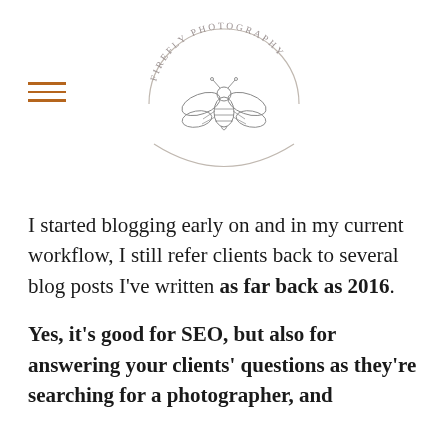Firefly Photography logo with hamburger menu
I started blogging early on and in my current workflow, I still refer clients back to several blog posts I've written as far back as 2016.
Yes, it's good for SEO, but also for answering your clients' questions as they're searching for a photographer, and for their simplicity of...